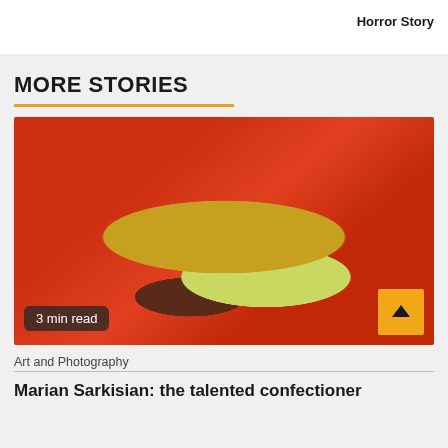Horror Story
MORE STORIES
[Figure (photo): A taco with ground beef, shredded lettuce, and yellow cheese on a red and white branded wrapper paper. Badge reads '3 min read'.]
3 min read
Art and Photography
Marian Sarkisian: the talented confectioner